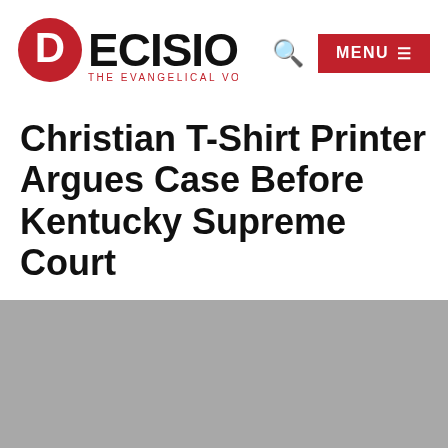DECISION — THE EVANGELICAL VOICE FOR TODAY
Christian T-Shirt Printer Argues Case Before Kentucky Supreme Court
[Figure (photo): Gray placeholder image area representing a news article photograph]